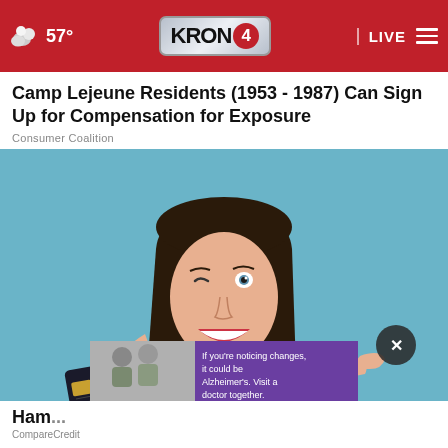57° KRON 4 LIVE
Camp Lejeune Residents (1953 - 1987) Can Sign Up for Compensation for Exposure
Consumer Coalition
[Figure (photo): Young woman in white t-shirt winking and pointing at a black credit card, against a light blue background]
If you're noticing changes, it could be Alzheimer's. Visit a doctor together.
Ham...
CompareCredit